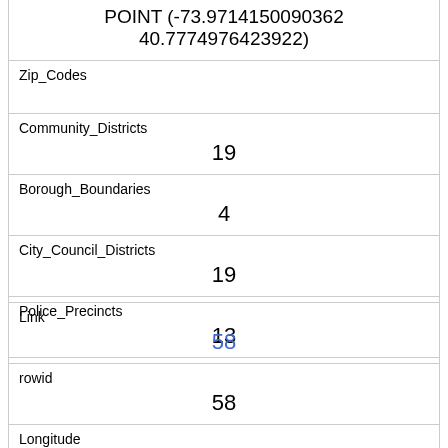| POINT (-73.9714150090362 40.7774976423922) |
| Zip_Codes |  |
| Community_Districts | 19 |
| Borough_Boundaries | 4 |
| City_Council_Districts | 19 |
| Police_Precincts | 13 |
| Link | 58 |
| rowid | 58 |
| Longitude | -73.9612352611518 |
| Latitude | 40.7944813634744 |